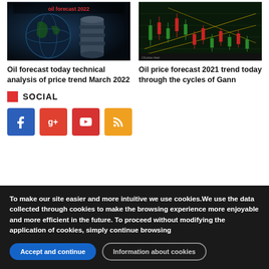[Figure (photo): Oil barrels and globe with red text overlay 'oil forecast 2022']
[Figure (screenshot): Green candlestick/financial chart with Gann lines overlay]
Oil forecast today technical analysis of price trend March 2022
Oil price forecast 2021 trend today through the cycles of Gann
SOCIAL
[Figure (infographic): Social media icons: Facebook (blue), Google+ (red-orange), YouTube (red), RSS (orange)]
To make our site easier and more intuitive we use cookies.We use the data collected through cookies to make the browsing experience more enjoyable and more efficient in the future. To proceed without modifying the application of cookies, simply continue browsing
Accept and continue
Information about cookies